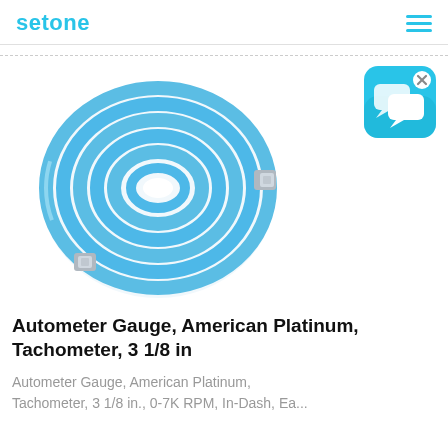setone
[Figure (photo): A coiled blue air hose/tube with silver metal fittings on each end, shown from above against a white background.]
[Figure (illustration): Blue rounded-square chat/messaging app icon with two overlapping speech bubble icons in white, and an 'x' close button in the top right corner.]
Autometer Gauge, American Platinum, Tachometer, 3 1/8 in
Autometer Gauge, American Platinum, Tachometer, 3 1/8 in., 0-7K RPM, In-Dash, Ea...